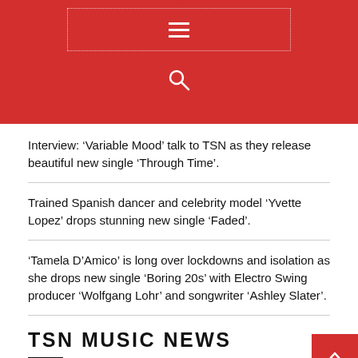TSN navigation header with hamburger menu and search icon
Interview: ‘Variable Mood’ talk to TSN as they release beautiful new single ‘Through Time’.
Trained Spanish dancer and celebrity model ‘Yvette Lopez’ drops stunning new single ‘Faded’.
‘Tamela D’Amico’ is long over lockdowns and isolation as she drops new single ‘Boring 20s’ with Electro Swing producer ‘Wolfgang Lohr’ and songwriter ‘Ashley Slater’.
TSN MUSIC NEWS
Music News